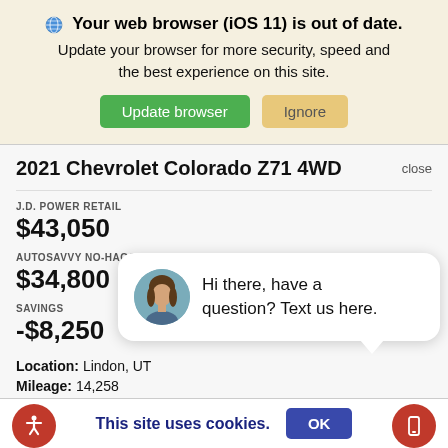Your web browser (iOS 11) is out of date. Update your browser for more security, speed and the best experience on this site. Update browser | Ignore
2021 Chevrolet Colorado Z71 4WD
J.D. POWER RETAIL
$43,050
AUTOSAVVY NO-HAGGLE PRICE
$34,800
SAVINGS
-$8,250
Location: Lindon, UT
Mileage: 14,258
Stock: 55984
[Figure (screenshot): Chat bubble popup with avatar photo of a woman and text: Hi there, have a question? Text us here.]
This site uses cookies. OK